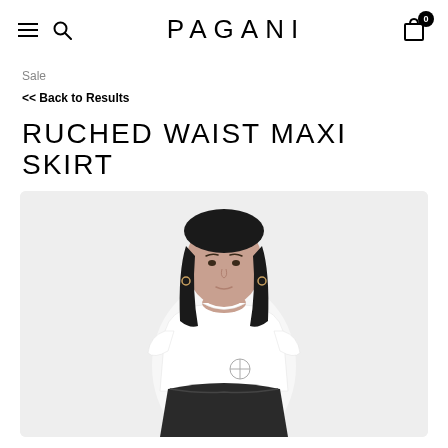PAGANI
Sale
<< Back to Results
RUCHED WAIST MAXI SKIRT
[Figure (photo): A young woman with long dark hair wearing a white short-sleeve t-shirt with a small circular logo, and a dark ruched waist maxi skirt. She is posing against a light grey/white background.]